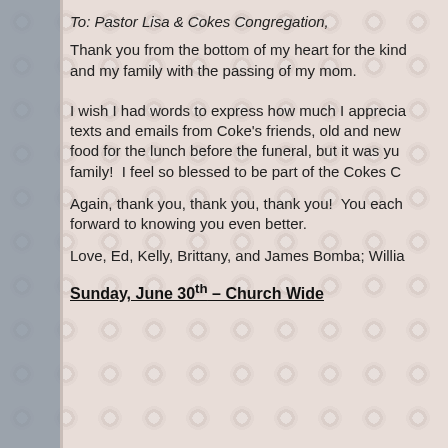To: Pastor Lisa & Cokes Congregation,
Thank you from the bottom of my heart for the kindness shown to me and my family with the passing of my mom.
I wish I had words to express how much I appreciated the calls, texts and emails from Coke's friends, old and new. Not only did you bring food for the lunch before the funeral, but it was yummy comfort food for my family! I feel so blessed to be part of the Cokes Chapel family!
Again, thank you, thank you, thank you! You each mean so much to us. I look forward to knowing you even better.
Love, Ed, Kelly, Brittany, and James Bomba; William
Sunday, June 30th – Church Wide